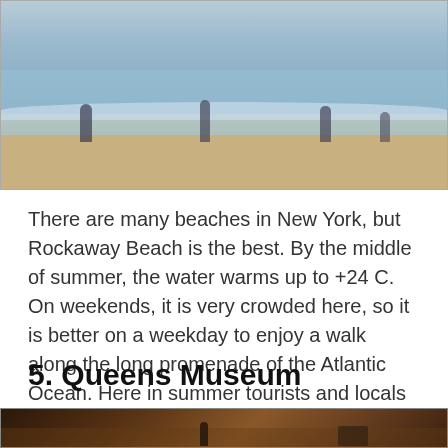[Figure (photo): Beach scene with people wading in shallow ocean water at Rockaway Beach, sandy shore visible]
There are many beaches in New York, but Rockaway Beach is the best. By the middle of summer, the water warms up to +24 C. On weekends, it is very crowded here, so it is better on a weekday to enjoy a walk along the long promenade of the Atlantic Ocean. Here in summer tourists and locals love to sunbathe and swim in the ocean. Active rest on jet skis and boats is also encouraged. The art of surfing is highly developed.
5. Queens Museum
[Figure (photo): Dark interior museum scene with warm amber/golden tones, a figure standing and what appears to be exhibit items or chairs in background]